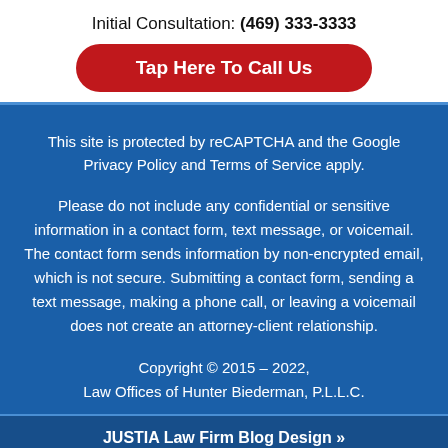Initial Consultation: (469) 333-3333
Tap Here To Call Us
This site is protected by reCAPTCHA and the Google Privacy Policy and Terms of Service apply.
Please do not include any confidential or sensitive information in a contact form, text message, or voicemail. The contact form sends information by non-encrypted email, which is not secure. Submitting a contact form, sending a text message, making a phone call, or leaving a voicemail does not create an attorney-client relationship.
Copyright © 2015 – 2022, Law Offices of Hunter Biederman, P.L.L.C.
JUSTIA Law Firm Blog Design »